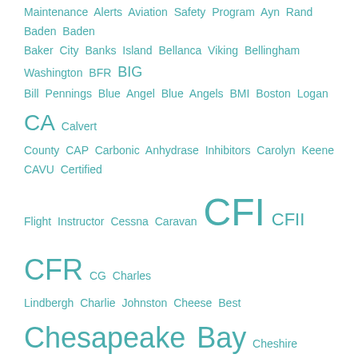Maintenance Alerts Aviation Safety Program Ayn Rand Baden Baden Baker City Banks Island Bellanca Viking Bellingham Washington BFR BIG Bill Pennings Blue Angel Blue Angels BMI Boston Logan CA Calvert County CAP Carbonic Anhydrase Inhibitors Carolyn Keene CAVU Certified Flight Instructor Cessna Caravan CFI CFII CFR CG Charles Lindbergh Charlie Johnston Cheese Best Chesapeake Bay Cheshire Cat Chuck Fox Cindy Keller Civil Air Patrol Clint Laurie Coles County Airport Confederate Air Force Correction Report Base CR Cross Country Crosswinds Squadron CT CTAF CVR CXY Damian Guttery Dane Spearing Dave Freer Dave Trahan David Cohn DE Death Turn Delaware River DG Diet Don DPE Dr James Mitchell DUATS DUI DVA DVD Dylan Smith EAA Eaker Field EGT Eileen Collins Eldon Johnston Ellen Paneok ELT Eric Simson ETE EVER EX FAA FATAL FRO